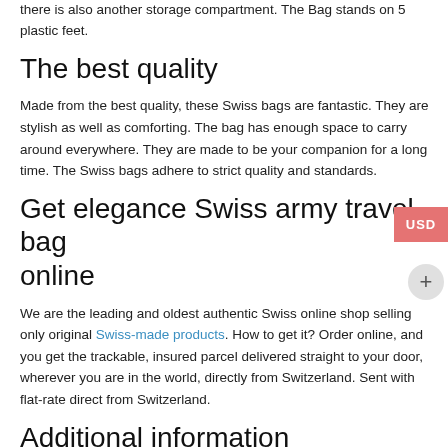there is also another storage compartment. The Bag stands on 5 plastic feet.
The best quality
Made from the best quality, these Swiss bags are fantastic. They are stylish as well as comforting. The bag has enough space to carry around everywhere. They are made to be your companion for a long time. The Swiss bags adhere to strict quality and standards.
Get elegance Swiss army travel bag online
We are the leading and oldest authentic Swiss online shop selling only original Swiss-made products. How to get it? Order online, and you get the trackable, insured parcel delivered straight to your door, wherever you are in the world, directly from Switzerland. Sent with flat-rate direct from Switzerland.
Additional information